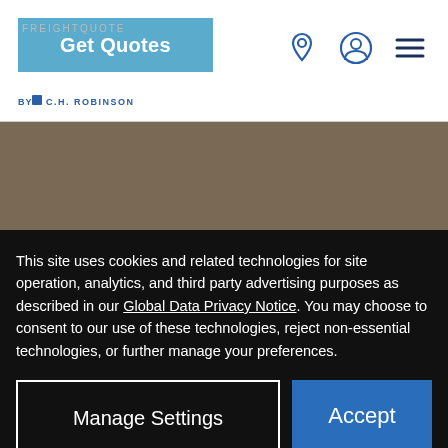Get Quotes | FREIGHTQUOTE by C.H. ROBINSON
[Figure (screenshot): Hero background image showing 'Ship from Washington to' text over a dark brownish-grey background]
This site uses cookies and related technologies for site operation, analytics, and third party advertising purposes as described in our Global Data Privacy Notice. You may choose to consent to our use of these technologies, reject non-essential technologies, or further manage your preferences.
Manage Settings | Accept